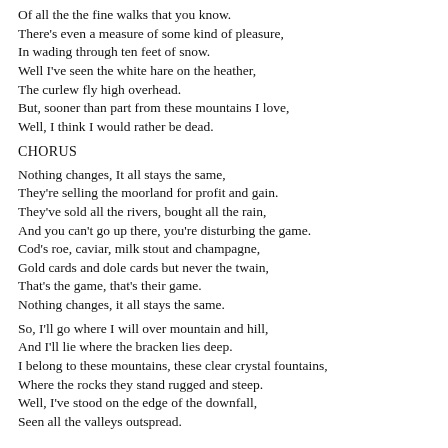Of all the the fine walks that you know.
There's even a measure of some kind of pleasure,
In wading through ten feet of snow.
Well I've seen the white hare on the heather,
The curlew fly high overhead.
But, sooner than part from these mountains I love,
Well, I think I would rather be dead.
CHORUS
Nothing changes, It all stays the same,
They're selling the moorland for profit and gain.
They've sold all the rivers, bought all the rain,
And you can't go up there, you're disturbing the game.
Cod's roe, caviar, milk stout and champagne,
Gold cards and dole cards but never the twain,
That's the game, that's their game.
Nothing changes, it all stays the same.
So, I'll go where I will over mountain and hill,
And I'll lie where the bracken lies deep.
I belong to these mountains, these clear crystal fountains,
Where the rocks they stand rugged and steep.
Well, I've stood on the edge of the downfall,
Seen all the valleys outspread.